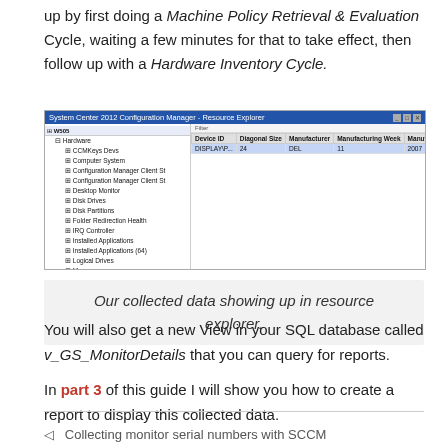up by first doing a Machine Policy Retrieval & Evaluation Cycle, waiting a few minutes for that to take effect, then follow up with a Hardware Inventory Cycle.
[Figure (screenshot): System Center 2012 Configuration Manager - Resource Explorer window showing a tree view on the left with items including Hardware, CCM keys, Computer System, Configuration Manager Client St, Configuration Manager Client St, Desktop Monitor, Disk Drives, Disk Partitions, Folder Redirection Health, IRQ Controller, Installed Applications, Installed Applications (64), Logical Drives, Memory, MonitorDetails (highlighted), Motherboard. On the right pane a table shows columns: Device ID, Diagonal Size, Manufacturer, Manufacturing Week, Manufacturing Year, Name, Serial Number. One row shows: DISPLAY\P... 24, DEL, 11, 2007, DELL 2407WFP, 1Y04N70B1S]
Our collected data showing up in resource explorer.
You will also get a new View in your SQL database called v_GS_MonitorDetails that you can query for reports.
In part 3 of this guide I will show you how to create a report to display this collected data.
◁   Collecting monitor serial numbers with SCCM